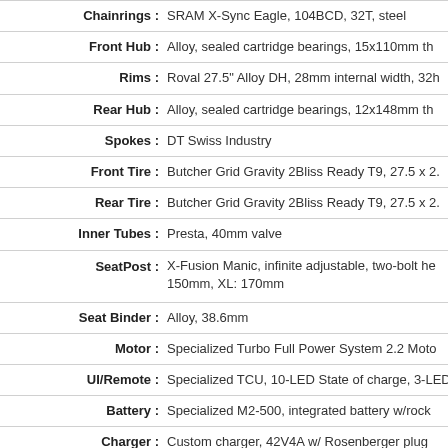| Specification | Value |
| --- | --- |
| Chainrings : | SRAM X-Sync Eagle, 104BCD, 32T, steel |
| Front Hub : | Alloy, sealed cartridge bearings, 15x110mm th... |
| Rims : | Roval 27.5" Alloy DH, 28mm internal width, 32h... |
| Rear Hub : | Alloy, sealed cartridge bearings, 12x148mm th... |
| Spokes : | DT Swiss Industry |
| Front Tire : | Butcher Grid Gravity 2Bliss Ready T9, 27.5 x 2... |
| Rear Tire : | Butcher Grid Gravity 2Bliss Ready T9, 27.5 x 2... |
| Inner Tubes : | Presta, 40mm valve |
| SeatPost : | X-Fusion Manic, infinite adjustable, two-bolt he... 150mm, XL: 170mm |
| Seat Binder : | Alloy, 38.6mm |
| Motor : | Specialized Turbo Full Power System 2.2 Moto... |
| UI/Remote : | Specialized TCU, 10-LED State of charge, 3-LE... |
| Battery : | Specialized M2-500, integrated battery w/rock... |
| Charger : | Custom charger, 42V4A w/ Rosenberger plug |
| Wiring Harness : | Custom Specialized harness |
| SWAT: | Specialized Z-Cage, Swat CC Multi Tool in stee... |